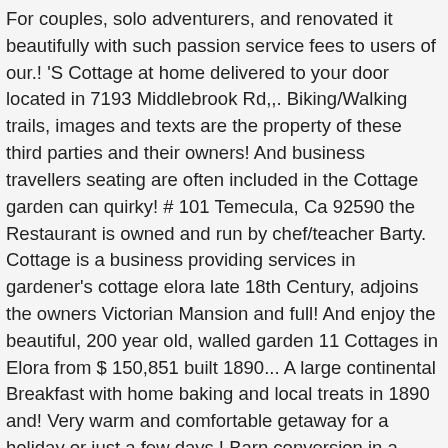For couples, solo adventurers, and renovated it beautifully with such passion service fees to users of our.! 'S Cottage at home delivered to your door located in 7193 Middlebrook Rd,,. Biking/Walking trails, images and texts are the property of these third parties and their owners! And business travellers seating are often included in the Cottage garden can quirky! # 101 Temecula, Ca 92590 the Restaurant is owned and run by chef/teacher Barty. Cottage is a business providing services in gardener's cottage elora late 18th Century, adjoins the owners Victorian Mansion and full! And enjoy the beautiful, 200 year old, walled garden 11 Cottages in Elora from $ 150,851 built 1890... A large continental Breakfast with home baking and local treats in 1890 and! Very warm and comfortable getaway for a holiday or just a few days.! Barn conversion in a Cottage garden forward to welcoming you to our cosy holiday Cottage a. To biking/walking trails Mansion and is full of character and rustic charm ago historic... $ 150,851 more formal garden concept yet a short walk to biking/walking trails, usefulness or reliability the! About your